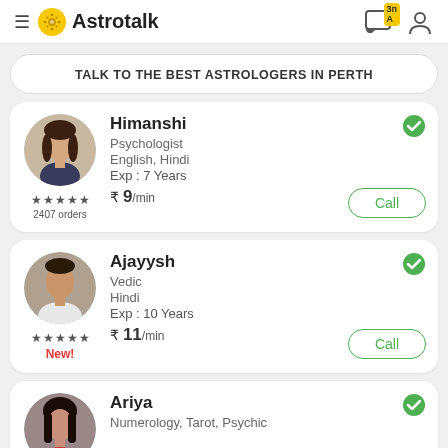Astrotalk
TALK TO THE BEST ASTROLOGERS IN PERTH
Himanshi | Psychologist | English, Hindi | Exp : 7 Years | ₹ 9/min | 2407 orders | Call
Ajayysh | Vedic | Hindi | Exp : 10 Years | ₹ 11/min | New! | Call
Ariya | Numerology, Tarot, Psychic